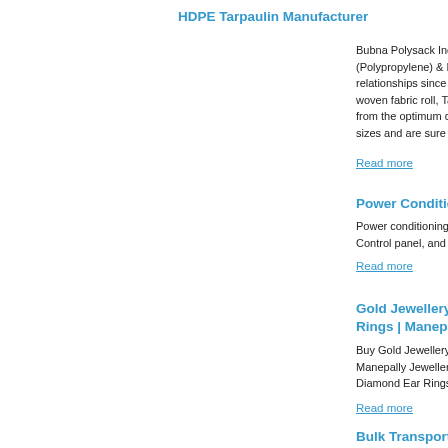HDPE Tarpaulin Manufacturer
Bubna Polysack Industries (http://ppbag.i... (Polypropylene) & HDPE woven products... relationships since 1985. We export varie... woven fabric roll, Tarpaulin, Jumbo bag a... from the optimum quality looms of high st... sizes and are sure to meet the expectatio...
Read more
Power Conditioning Manufac...
Power conditioning manufacturer such as... Control panel, and UPS. Visit our site: htt...
Read more
Gold Jewellery | Diamond Jew... Rings | Manepally Jewellers
Buy Gold Jewellery shops in hyderabad &... Manepally Jewellers. Latest wide range o... Diamond Ear Rings, necklaces and gold e...
Read more
Bulk Transport in Tanzania